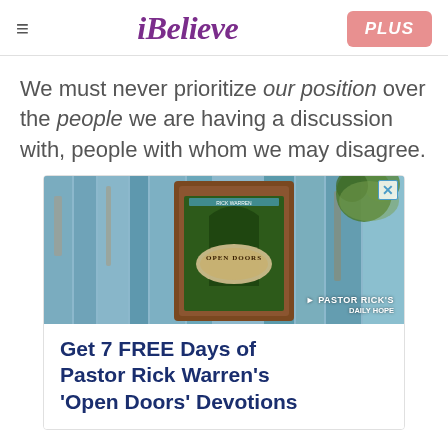iBelieve  PLUS
We must never prioritize our position over the people we are having a discussion with, people with whom we may disagree.
[Figure (photo): Advertisement for Pastor Rick Warren's 'Open Doors' Devotions showing a book on a rustic blue wooden door background. Text reads: Get 7 FREE Days of Pastor Rick Warren's ‘Open Doors’ Devotions]
In a sensitive conversation about someone’s